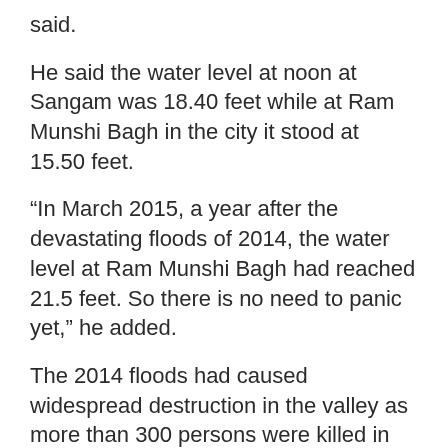said.
He said the water level at noon at Sangam was 18.40 feet while at Ram Munshi Bagh in the city it stood at 15.50 feet.
“In March 2015, a year after the devastating floods of 2014, the water level at Ram Munshi Bagh had reached 21.5 feet. So there is no need to panic yet,” he added.
The 2014 floods had caused widespread destruction in the valley as more than 300 persons were killed in the deluge that struck in the month of September.
According to MET department officials, Srinagar received 83.9 mm rain and snowfall